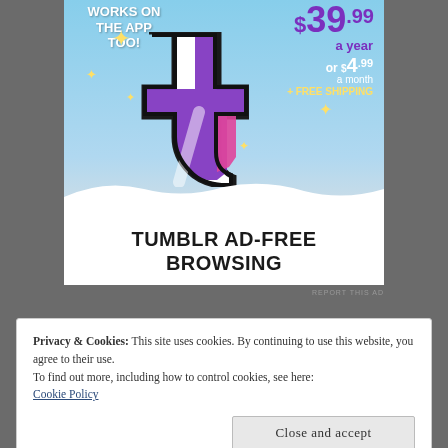[Figure (advertisement): Tumblr Ad-Free Browsing advertisement. Sky blue background with Tumblr 't' logo, yellow sparkles, text: WORKS ON THE APP TOO!, price $39.99 a year or $4.99 a month + FREE SHIPPING, TUMBLR AD-FREE BROWSING]
REPORT THIS AD
Privacy & Cookies: This site uses cookies. By continuing to use this website, you agree to their use.
To find out more, including how to control cookies, see here:
Cookie Policy
Close and accept